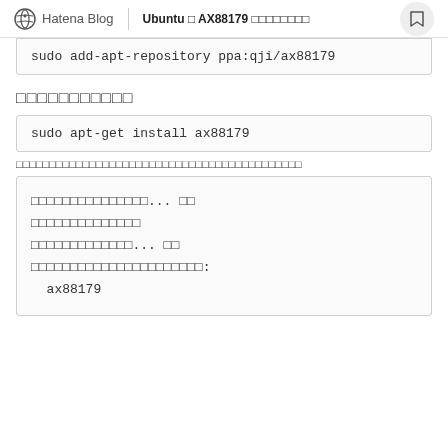Hatena Blog | Ubuntu □ AX88179 □□□□□□□□
sudo add-apt-repository ppa:qji/ax88179
□□□□□□□□□□□
sudo apt-get install ax88179
□□□□□□□□□□□□□□□□□□□□□□□□□□□□□□□□□□□□□□□□□□□
□□□□□□□□□□□□□□□... □□
□□□□□□□□□□□□□□
□□□□□□□□□□□□□... □□
□□□□□□□□□□□□□□□□□□□□□□:
  ax88179